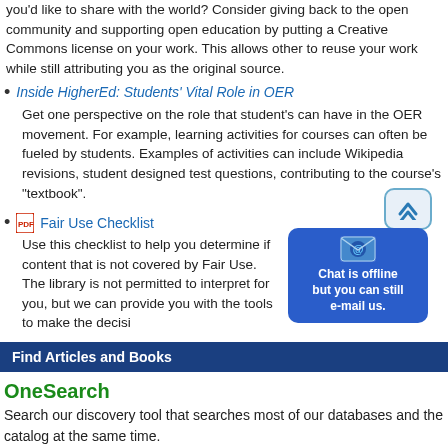you'd like to share with the world? Consider giving back to the open community and supporting open education by putting a Creative Commons license on your work. This allows other to reuse your work while still attributing you as the original source.
Inside HigherEd: Students' Vital Role in OER — Get one perspective on the role that student's can have in the OER movement. For example, learning activities for courses can often be fueled by students. Examples of activities can include Wikipedia revisions, student designed test questions, contributing to the course's "textbook".
Fair Use Checklist — Use this checklist to help you determine if content that is not covered by Fair Use. The library is not permitted to interpret for you, but we can provide you with the tools to make the decisi...
[Figure (infographic): Chat is offline but you can still e-mail us. Blue chat bubble overlay with mail icon and arrow box.]
Find Articles and Books
OneSearch
Search our discovery tool that searches most of our databases and the catalog at the same time.